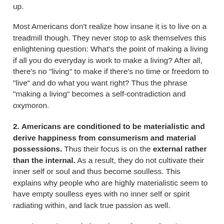up.
Most Americans don't realize how insane it is to live on a treadmill though. They never stop to ask themselves this enlightening question: What's the point of making a living if all you do everyday is work to make a living? After all, there's no "living" to make if there's no time or freedom to "live" and do what you want right? Thus the phrase "making a living" becomes a self-contradiction and oxymoron.
2. Americans are conditioned to be materialistic and derive happiness from consumerism and material possessions.
Thus their focus is on the external rather than the internal. As a result, they do not cultivate their inner self or soul and thus become soulless. This explains why people who are highly materialistic seem to have empty soulless eyes with no inner self or spirit radiating within, and lack true passion as well.
Americans also trade happiness for comfort, by following the system rather than their soul. This is a big mistake because when you focus on bodily comforts and neglect the